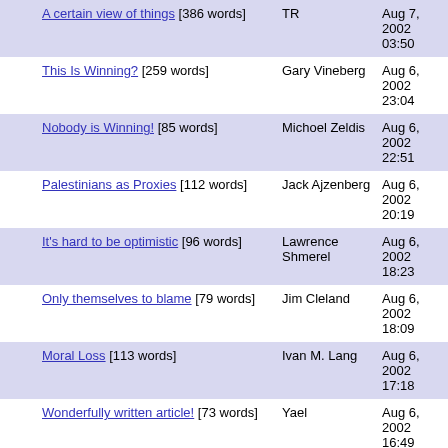|  | Title | Author | Date |
| --- | --- | --- | --- |
|  | A certain view of things [386 words] | TR | Aug 7, 2002 03:50 |
|  | This Is Winning? [259 words] | Gary Vineberg | Aug 6, 2002 23:04 |
|  | Nobody is Winning! [85 words] | Michoel Zeldis | Aug 6, 2002 22:51 |
|  | Palestinians as Proxies [112 words] | Jack Ajzenberg | Aug 6, 2002 20:19 |
|  | It's hard to be optimistic [96 words] | Lawrence Shmerel | Aug 6, 2002 18:23 |
|  | Only themselves to blame [79 words] | Jim Cleland | Aug 6, 2002 18:09 |
|  | Moral Loss [113 words] | Ivan M. Lang | Aug 6, 2002 17:18 |
|  | Wonderfully written article! [73 words] | Yael | Aug 6, 2002 16:49 |
|  | They need to get civilized [71 words] | Charles Selbe | Aug 6, |